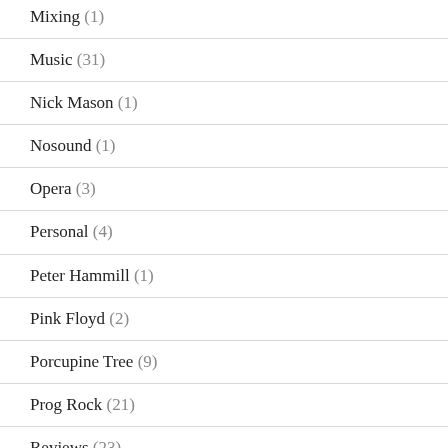Mixing (1)
Music (31)
Nick Mason (1)
Nosound (1)
Opera (3)
Personal (4)
Peter Hammill (1)
Pink Floyd (2)
Porcupine Tree (9)
Prog Rock (21)
Reviews (23)